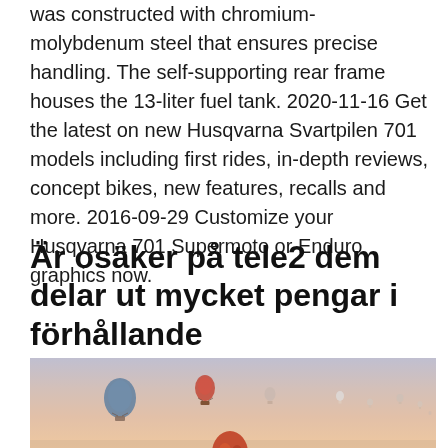was constructed with chromium-molybdenum steel that ensures precise handling. The self-supporting rear frame houses the 13-liter fuel tank. 2020-11-16 Get the latest on new Husqvarna Svartpilen 701 models including first rides, in-depth reviews, concept bikes, new features, recalls and more. 2016-09-29 Customize your Husqvarna 701 Supermoto or Enduro graphics now.
Är osäker på tele2 dem delar ut mycket pengar i förhållande
[Figure (photo): Hot air balloons floating in a hazy pastel sky at sunrise or sunset, multiple balloons visible at various distances]